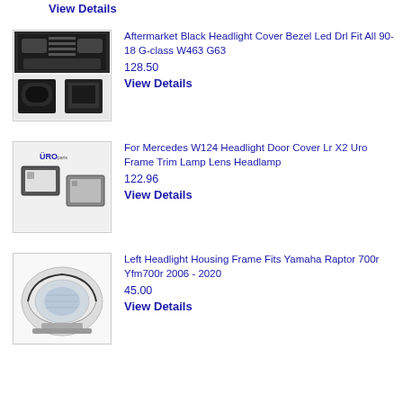View Details
[Figure (photo): Aftermarket black headlight cover bezel product photo showing a G-class vehicle front and black bezel parts]
Aftermarket Black Headlight Cover Bezel Led Drl Fit All 90-18 G-class W463 G63
128.50
View Details
[Figure (photo): URO Parts Mercedes W124 headlight door cover frame parts photo]
For Mercedes W124 Headlight Door Cover Lr X2 Uro Frame Trim Lamp Lens Headlamp
122.96
View Details
[Figure (photo): Left headlight housing frame for Yamaha Raptor 700r product photo]
Left Headlight Housing Frame Fits Yamaha Raptor 700r Yfm700r 2006 - 2020
45.00
View Details